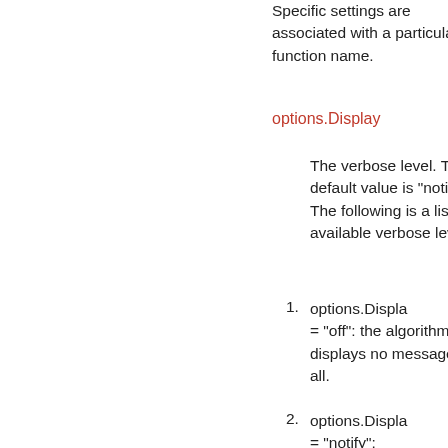Specific settings are associated with a particular function name.
options.Display
The verbose level. The default value is "notify". The following is a list of available verbose levels.
options.Display = "off": the algorithm displays no message at all.
options.Display = "notify":